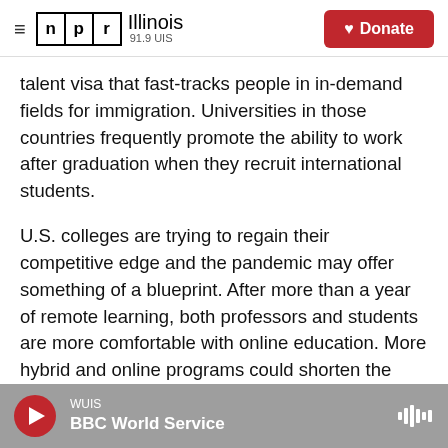NPR Illinois 91.9 UIS | Donate
talent visa that fast-tracks people in in-demand fields for immigration. Universities in those countries frequently promote the ability to work after graduation when they recruit international students.
U.S. colleges are trying to regain their competitive edge and the pandemic may offer something of a blueprint. After more than a year of remote learning, both professors and students are more comfortable with online education. More hybrid and online programs could shorten the amount of time students would need to be in the U.S. And colleges
WUIS | BBC World Service